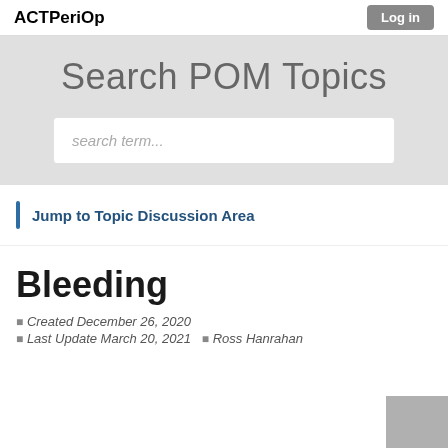ACTPeriOp
Search POM Topics
search term...
Jump to Topic Discussion Area
Bleeding
Created December 26, 2020
Last Update March 20, 2021  Ross Hanrahan